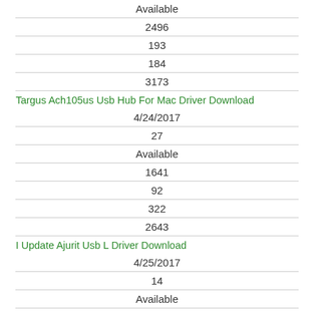Available
2496
193
184
3173
Targus Ach105us Usb Hub For Mac Driver Download
4/24/2017
27
Available
1641
92
322
2643
I Update Ajurit Usb L Driver Download
4/25/2017
14
Available
3575
223
792
5798
Smee Usb2350 Driver Download